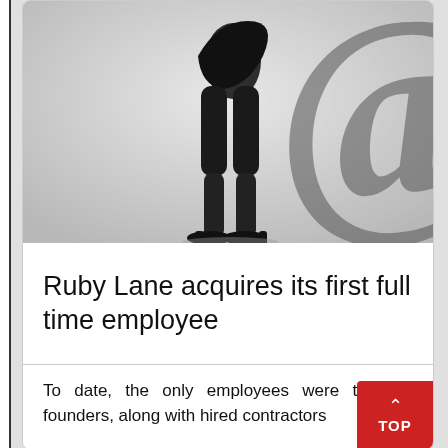[Figure (photo): Black and white photograph of a person's lower body (legs and feet in heels) standing in front of a large '@' symbol, silhouetted against a light background.]
Ruby Lane acquires its first full time employee
To date, the only employees were the co-founders, along with hired contractors